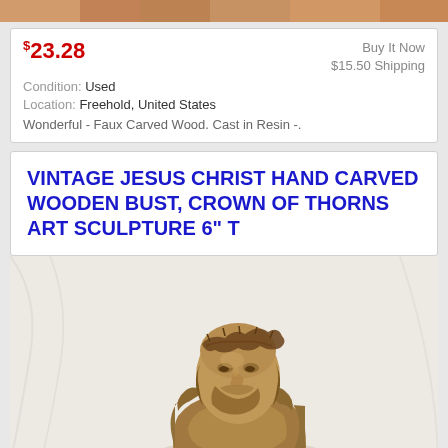[Figure (photo): Top strip showing partial view of colorful figurines or decorative items]
$23.28
Buy It Now
$15.50 Shipping
Condition: Used
Location: Freehold, United States
Wonderful - Faux Carved Wood. Cast in Resin -.
VINTAGE JESUS CHRIST HAND CARVED WOODEN BUST, CROWN OF THORNS ART SCULPTURE 6" T
[Figure (photo): Photograph of a small carved wooden bust of Jesus Christ wearing a crown of thorns, shown against a white background]